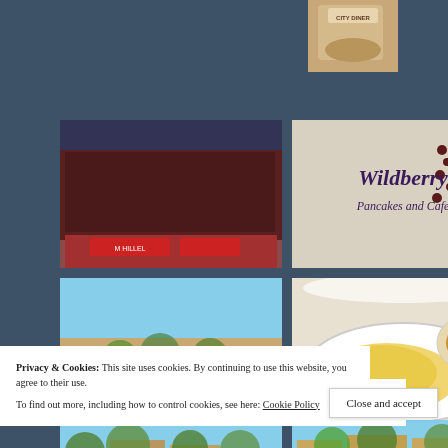[Figure (photo): Partial photo of a City Diner mug/cup, top-right area]
[Figure (photo): Eleven restaurant storefront sign with neon lettering]
[Figure (photo): Wildberry Pancakes and Cafe sign on white wooden boards with berry vine decoration]
[Figure (photo): Breakfast plate with bacon, eggs, fruit including melon and tomato]
[Figure (photo): Exterior of a restaurant with awnings and outdoor seating on a sunny day]
[Figure (photo): Plate of scrambled eggs with toast and a small bowl of soup]
[Figure (photo): Bowl of stew or chili with beans, garnished with cilantro and bacon]
[Figure (photo): Street view of restaurant exterior with trees and pedestrians]
[Figure (photo): Street view of restaurant row with trees and people walking]
[Figure (photo): Close-up of a branded circular token or medallion with logo]
Privacy & Cookies: This site uses cookies. By continuing to use this website, you agree to their use. To find out more, including how to control cookies, see here: Cookie Policy
Close and accept